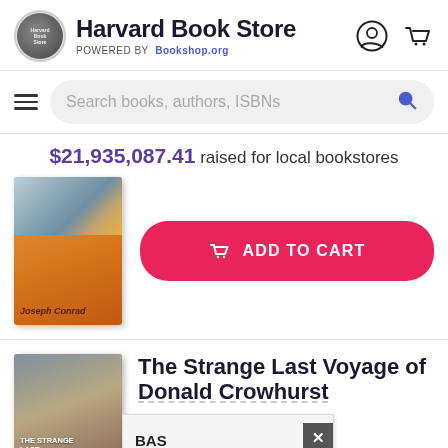Harvard Book Store — POWERED BY Bookshop.org
Search books, authors, ISBNs
$21,935,087.41 raised for local bookstores
[Figure (photo): Book cover for a Joseph Conrad title with orange background and nautical scene at top]
ADD TO CART
[Figure (photo): Book cover for The Strange Last Voyage of Donald Crowhurst with a man in sailing gear]
The Strange Last Voyage of Donald Crowhurst
BAS BOOKS (popup overlay with close button)